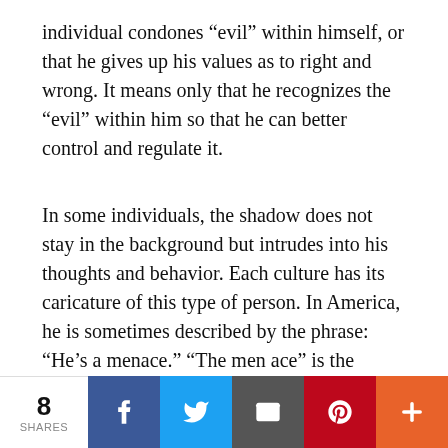individual condones “evil” within himself, or that he gives up his values as to right and wrong. It means only that he recognizes the “evil” within him so that he can better control and regulate it.
In some individuals, the shadow does not stay in the background but intrudes into his thoughts and behavior. Each culture has its caricature of this type of person. In America, he is sometimes described by the phrase: “He’s a menace.” “The men ace” is the fellow who tries to enter a room quietly but proceeds to knock over a vase, catch his foot on the dogs leash and bring
8 SHARES | Facebook | Twitter | Email | Pinterest | More